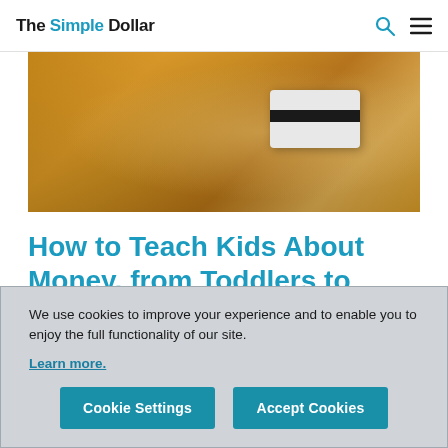The Simple Dollar
[Figure (photo): Close-up photo of two people, one in an orange/yellow top and one in a plaid shirt, holding a credit card or bank card between them.]
How to Teach Kids About Money, from Toddlers to Teens
We use cookies to improve your experience and to enable you to enjoy the full functionality of our site.
Learn more.
Cookie Settings | Accept Cookies